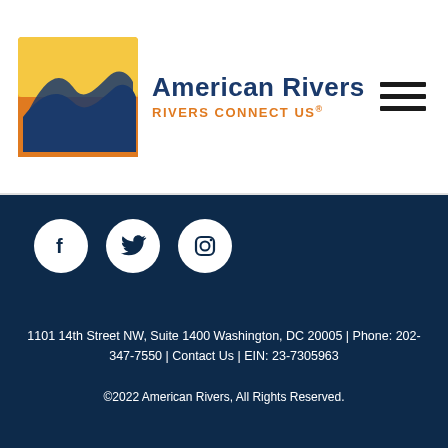[Figure (logo): American Rivers logo with wave on orange/yellow background square, text 'American Rivers' in dark blue and 'RIVERS CONNECT US®' in orange]
[Figure (infographic): Three horizontal lines forming a hamburger/menu icon]
[Figure (infographic): Social media icons: Facebook, Twitter, Instagram in white circles on dark navy background]
1101 14th Street NW, Suite 1400 Washington, DC 20005 | Phone: 202-347-7550 | Contact Us | EIN: 23-7305963
©2022 American Rivers, All Rights Reserved.